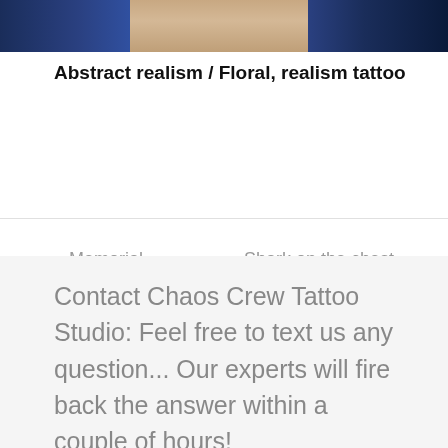[Figure (photo): Cropped photo showing a person wearing a denim jacket, with skin/neck visible in center, dark background]
Abstract realism / Floral, realism tattoo
« Memorial tattoo… : fineline tattoo
Shark on the chest : Maori tattoo »
Contact Chaos Crew Tattoo Studio: Feel free to text us any question... Our experts will fire back the answer within a couple of hours!